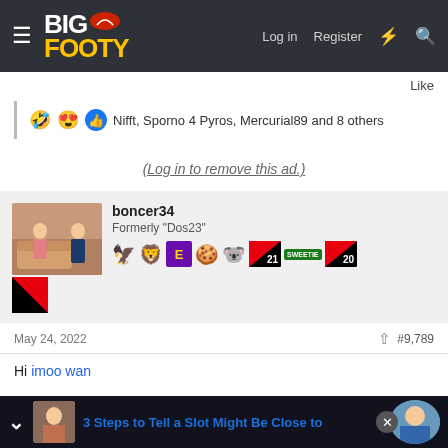BigFooty — Log in  Register
Like
🤣 😍 👍 Nifft, Sporno 4 Pyros, Mercurial89 and 8 others
(Log in to remove this ad.)
boncer34
Formerly "Dos23"
May 24, 2022   #9,789
Hi imoo wan
3 Steps to Tell a Slot Might Be Close to